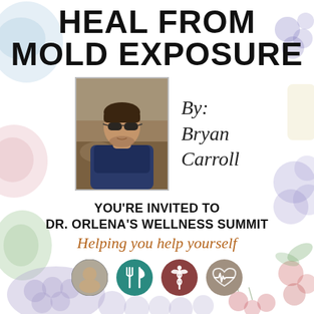HEAL FROM MOLD EXPOSURE
[Figure (photo): Portrait photo of Bryan Carroll, a man wearing sunglasses and a dark blue long-sleeve shirt, outdoors with rocky ground in background]
By: Bryan Carroll
YOU'RE INVITED TO DR. ORLENA'S WELLNESS SUMMIT
Helping you help yourself
[Figure (illustration): Four circular icons: person photo (Dr. Orlena), teal fork-and-knife icon, red/brown medical caduceus icon, gray heart-rate/heartbeat icon]